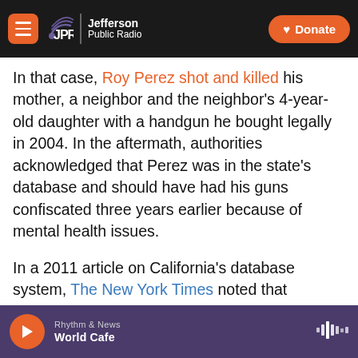JPR Jefferson Public Radio | Donate
In that case, Roy Perez shot and killed his mother, a neighbor and the neighbor's 4-year-old daughter with a handgun he bought legally in 2004. In the aftermath, authorities acknowledged that Perez was in the state's database and should have had his guns confiscated three years earlier because of mental health issues.
In a 2011 article on California's database system, The New York Times noted that Baldwin Park police had failed to regularly read the state's locally-tailored reports. “Nobody knew where the e-mail was or where it was going,” one lieutenant was
Rhythm & News | World Cafe